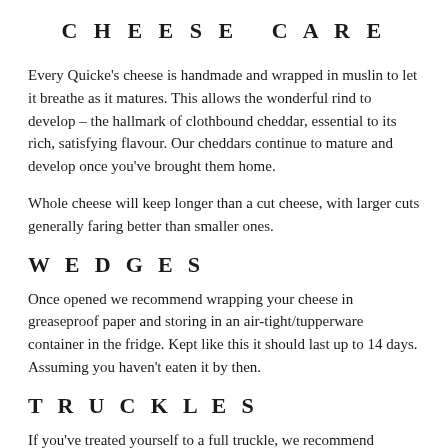CHEESE CARE
Every Quicke's cheese is handmade and wrapped in muslin to let it breathe as it matures. This allows the wonderful rind to develop – the hallmark of clothbound cheddar, essential to its rich, satisfying flavour. Our cheddars continue to mature and develop once you've brought them home.
Whole cheese will keep longer than a cut cheese, with larger cuts generally faring better than smaller ones.
WEDGES
Once opened we recommend wrapping your cheese in greaseproof paper and storing in an air-tight/tupperware container in the fridge. Kept like this it should last up to 14 days. Assuming you haven't eaten it by then.
TRUCKLES
If you've treated yourself to a full truckle, we recommend